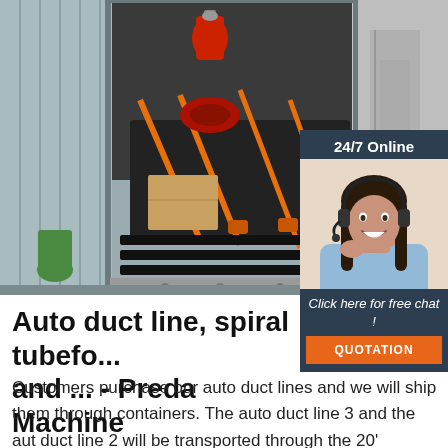[Figure (photo): Industrial machinery (auto duct line) loaded inside a metal shipping container, secured with orange straps. Red fire extinguisher and electrical components visible.]
[Figure (photo): Customer service representative, a young woman with dark hair wearing a headset, smiling. '24/7 Online' banner above and 'Click here for free chat!' with orange QUOTATION button below.]
Auto duct line, spiral tubefo... and ... - Preda Machine
Customers purchase our auto duct lines and we will ship them through containers. The auto duct line 3 and the aut duct line 2 will be transported through the 20' container, and the auto duct line 5 and U-shape auto duct line will be transported through the 40' container. CNC plasma cutting